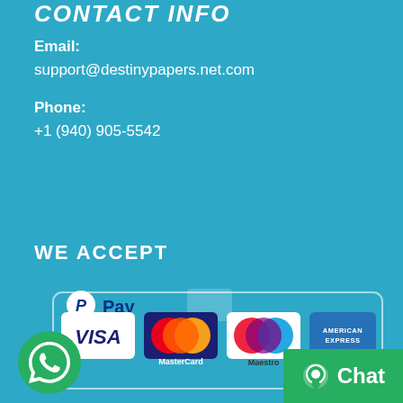CONTACT INFO
Email:
support@destinypapers.net.com
Phone:
+1 (940) 905-5542
WE ACCEPT
[Figure (logo): PayPal Pay logo with Visa, MasterCard, Maestro, and American Express card logos in a rounded border box]
[Figure (logo): WhatsApp green phone icon button]
[Figure (other): Green Chat button with chat bubble icon]